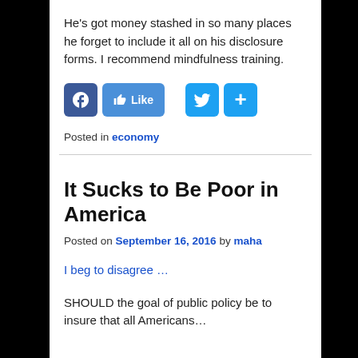He's got money stashed in so many places he forget to include it all on his disclosure forms. I recommend mindfulness training.
[Figure (other): Social media share buttons: Facebook icon, Facebook Like button, Twitter icon, and a share (+) button]
Posted in economy
It Sucks to Be Poor in America
Posted on September 16, 2016 by maha
I beg to disagree …
SHOULD the goal of public policy be to insure that all Americans…